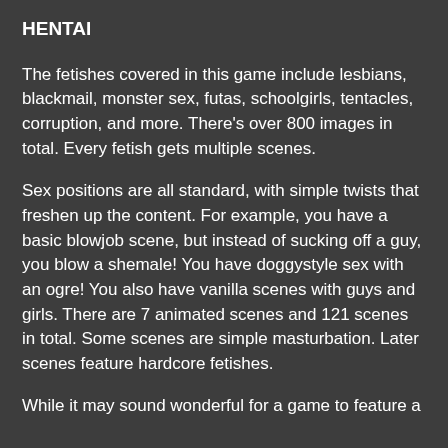HENTAI
The fetishes covered in this game include lesbians, blackmail, monster sex, futas, schoolgirls, tentacles, corruption, and more. There's over 800 images in total. Every fetish gets multiple scenes.
Sex positions are all standard, with simple twists that freshen up the content. For example, you have a basic blowjob scene, but instead of sucking off a guy, you blow a shemale! You have doggystyle sex with an ogre! You also have vanilla scenes with guys and girls. There are 7 animated scenes and 121 scenes in total. Some scenes are simple masturbation. Later scenes feature hardcore fetishes.
While it may sound wonderful for a game to feature a